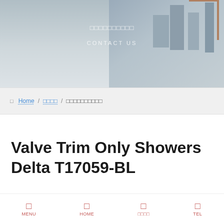[Figure (photo): Hero banner with construction site / city skyline background, showing Japanese text and 'CONTACT US' navigation link]
□□□□□□□□□□
CONTACT US
□ Home / □□□□ / □□□□□□□□□□
Valve Trim Only Showers Delta T17059-BL
MENU  HOME  □□□□  TEL